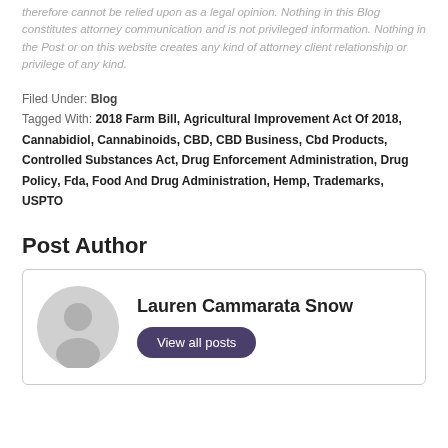therefore cannot be relied upon as a legal opinion. Nothing in this Blog constitutes attorney communication and is not privileged information. Nothing in the Post or on this website creates any kind of attorney client relationship or privilege of any kind.
Filed Under: Blog
Tagged With: 2018 Farm Bill, Agricultural Improvement Act Of 2018, Cannabidiol, Cannabinoids, CBD, CBD Business, Cbd Products, Controlled Substances Act, Drug Enforcement Administration, Drug Policy, Fda, Food And Drug Administration, Hemp, Trademarks, USPTO
Post Author
Lauren Cammarata Snow
View all posts